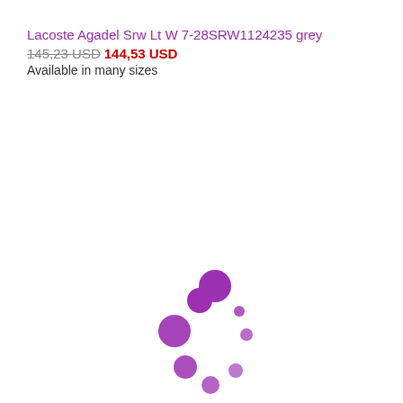Lacoste Agadel Srw Lt W 7-28SRW1124235 grey
145,23 USD  144,53 USD
Available in many sizes
[Figure (other): Purple animated loading spinner made of circles of varying sizes arranged in a circular pattern]